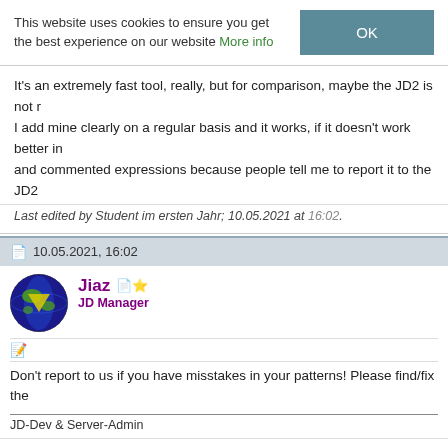This website uses cookies to ensure you get the best experience on our website More info OK
It's an extremely fast tool, really, but for comparison, maybe the JD2 is not r... I add mine clearly on a regular basis and it works, if it doesn't work better in... and commented expressions because people tell me to report it to the JD2...
Last edited by Student im ersten Jahr; 10.05.2021 at 16:02.
10.05.2021, 16:02
Jiaz JD Manager
Don't report to us if you have misstakes in your patterns! Please find/fix the...
JD-Dev & Server-Admin
10.05.2021, 16:06
Student im ersten Jahr